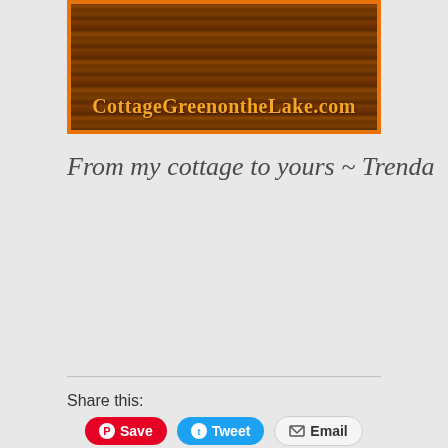[Figure (photo): Banner image with dark brown wood-texture background and orange text reading CottageGreenontheLake.com, framed with an orange border]
From my cottage to yours  ~  Trenda
Share this:
Save  Tweet  Email